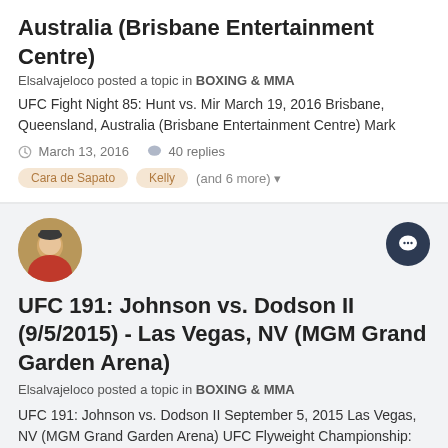Australia (Brisbane Entertainment Centre)
Elsalvajeloco posted a topic in BOXING & MMA
UFC Fight Night 85: Hunt vs. Mir March 19, 2016 Brisbane, Queensland, Australia (Brisbane Entertainment Centre) Mark
March 13, 2016  40 replies
Cara de Sapato  Kelly  (and 6 more)
[Figure (photo): Circular avatar photo of a person wearing a red vest]
[Figure (illustration): Dark circular reply/chat icon button]
UFC 191: Johnson vs. Dodson II (9/5/2015) - Las Vegas, NV (MGM Grand Garden Arena)
Elsalvajeloco posted a topic in BOXING & MMA
UFC 191: Johnson vs. Dodson II September 5, 2015 Las Vegas, NV (MGM Grand Garden Arena) UFC Flyweight Championship:
August 31, 2015  38 replies  1